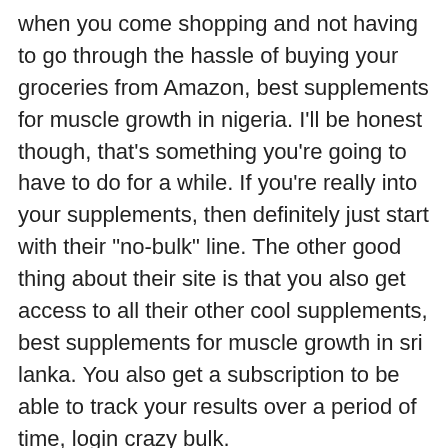when you come shopping and not having to go through the hassle of buying your groceries from Amazon, best supplements for muscle growth in nigeria. I'll be honest though, that's something you're going to have to do for a while. If you're really into your supplements, then definitely just start with their "no-bulk" line. The other good thing about their site is that you also get access to all their other cool supplements, best supplements for muscle growth in sri lanka. You also get a subscription to be able to track your results over a period of time, login crazy bulk.
I also like the fact that I can use their Bulk-It program for all my food, so you never need to worry about buying some expensive stuff just to get one item to fill out your intake, best supplements for muscle growth in nigeria. The program goes over everything